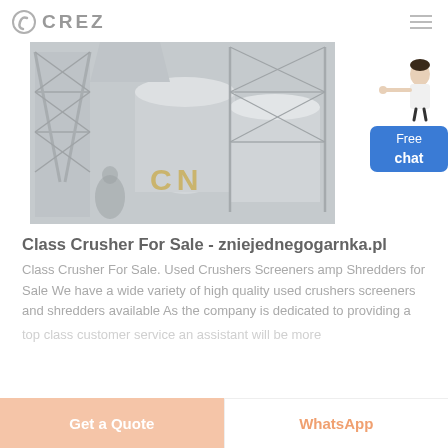CREZ
[Figure (photo): Industrial machinery/crusher equipment in a factory setting with structural steel frames, large cylindrical tanks and hoppers, muted gray tones. CN watermark visible in yellow.]
Class Crusher For Sale - zniejednegogarnka.pl
Class Crusher For Sale. Used Crushers Screeners amp Shredders for Sale We have a wide variety of high quality used crushers screeners and shredders available As the company is dedicated to providing a top class customer service an assistant will be more
Get a Quote   WhatsApp